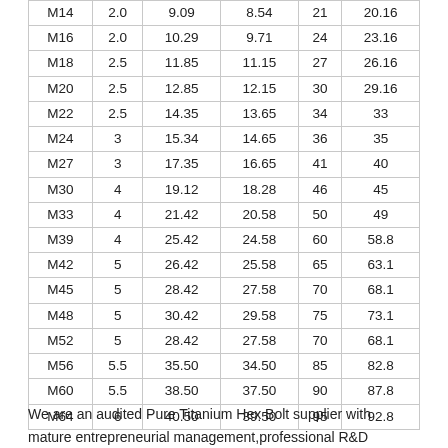| Size | Pitch | Max Outer Dia. | Min Outer Dia. | Col4 | Col5 |
| --- | --- | --- | --- | --- | --- |
| M14 | 2.0 | 9.09 | 8.54 | 21 | 20.16 |
| M16 | 2.0 | 10.29 | 9.71 | 24 | 23.16 |
| M18 | 2.5 | 11.85 | 11.15 | 27 | 26.16 |
| M20 | 2.5 | 12.85 | 12.15 | 30 | 29.16 |
| M22 | 2.5 | 14.35 | 13.65 | 34 | 33 |
| M24 | 3 | 15.34 | 14.65 | 36 | 35 |
| M27 | 3 | 17.35 | 16.65 | 41 | 40 |
| M30 | 4 | 19.12 | 18.28 | 46 | 45 |
| M33 | 4 | 21.42 | 20.58 | 50 | 49 |
| M39 | 4 | 25.42 | 24.58 | 60 | 58.8 |
| M42 | 5 | 26.42 | 25.58 | 65 | 63.1 |
| M45 | 5 | 28.42 | 27.58 | 70 | 68.1 |
| M48 | 5 | 30.42 | 29.58 | 75 | 73.1 |
| M52 | 5 | 28.42 | 27.58 | 70 | 68.1 |
| M56 | 5.5 | 35.50 | 34.50 | 85 | 82.8 |
| M60 | 5.5 | 38.50 | 37.50 | 90 | 87.8 |
| M64 | 6 | 40.50 | 39.50 | 95 | 92.8 |
We are an audited Pure Titanium Hex Bolt supplier with mature entrepreneurial management,professional R&D